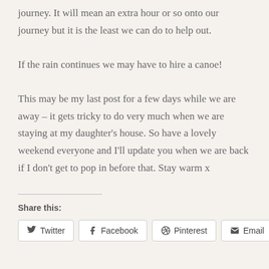journey. It will mean an extra hour or so onto our journey but it is the least we can do to help out.
If the rain continues we may have to hire a canoe!
This may be my last post for a few days while we are away – it gets tricky to do very much when we are staying at my daughter's house. So have a lovely weekend everyone and I'll update you when we are back if I don't get to pop in before that. Stay warm x
Share this:
Twitter | Facebook | Pinterest | Email